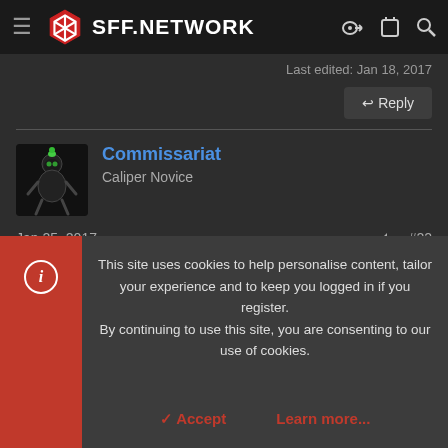SFF.NETWORK
Last edited: Jan 18, 2017
↩ Reply
Commissariat
Caliper Novice
Jan 25, 2017   #22
Thinking about removing the fan from one of these PSUs. What do you guys think would be a safe wattage to run it
This site uses cookies to help personalise content, tailor your experience and to keep you logged in if you register. By continuing to use this site, you are consenting to our use of cookies.